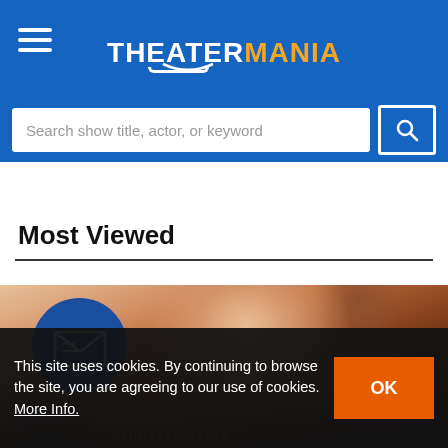TheaterMania
Search show title, actor, or keyword
Most Viewed
[Figure (photo): Close-up photo of a woman with curly auburn/brown hair, with a circular dark blue email/newsletter icon overlay in the lower left]
This site uses cookies. By continuing to browse the site, you are agreeing to our use of cookies. More Info.